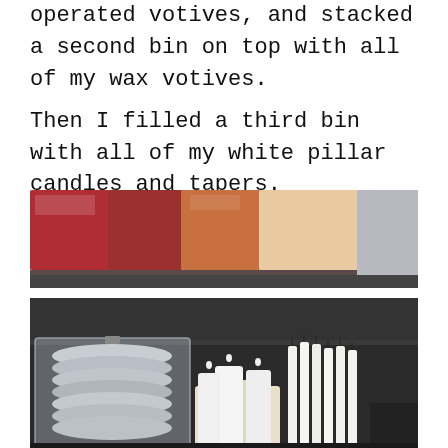operated votives, and stacked a second bin on top with all of my wax votives. Then I filled a third bin with all of my white pillar candles and tapers.
[Figure (photo): Close-up photo of colorful votive candles in glass containers - red, orange, and beige/cream colors visible on a shelf.]
[Figure (photo): Photo of white pillar candles and taper candles stored in clear bins on a dark shelf. A clear storage bin with tin votives is on the left, white pillar candles in the center, and tall white taper candles on the right.]